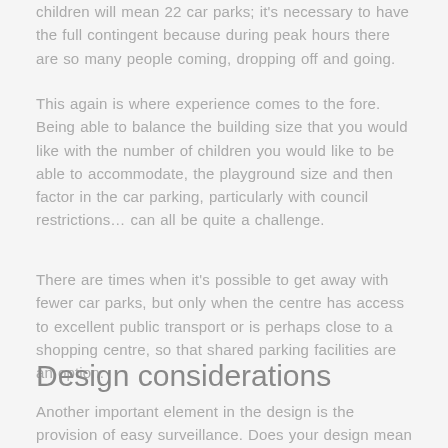children will mean 22 car parks; it's necessary to have the full contingent because during peak hours there are so many people coming, dropping off and going.
This again is where experience comes to the fore. Being able to balance the building size that you would like with the number of children you would like to be able to accommodate, the playground size and then factor in the car parking, particularly with council restrictions… can all be quite a challenge.
There are times when it's possible to get away with fewer car parks, but only when the centre has access to excellent public transport or is perhaps close to a shopping centre, so that shared parking facilities are an option.
Design considerations
Another important element in the design is the provision of easy surveillance. Does your design mean that it is simple for carers and other staff to have their eyes on their charges at all